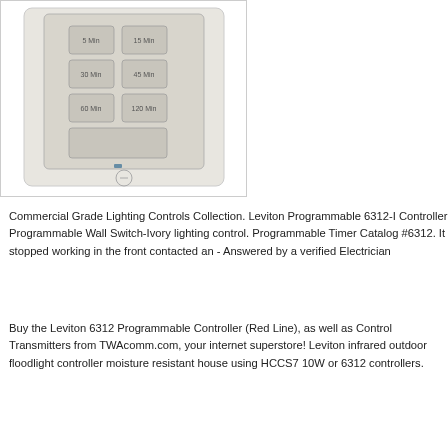[Figure (photo): Photo of a Leviton programmable wall switch timer/controller in ivory color, mounted on a white wall plate, showing multiple timer buttons labeled with time increments (5 Min, 15 Min, 30 Min, 45 Min, 60 Min, 120 Min) and a larger button below, with a small LED indicator at the bottom center.]
Commercial Grade Lighting Controls Collection. Leviton Programmable 6312-I Controller Programmable Wall Switch-Ivory lighting control. Programmable Timer Catalog #6312. It stopped working in the front contacted an - Answered by a verified Electrician
Buy the Leviton 6312 Programmable Controller (Red Line), as well as Control Transmitters from TWAcomm.com, your internet superstore! Leviton infrared outdoor floodlight controller moisture resistant house using HCCS7 10W or 6312 controllers.